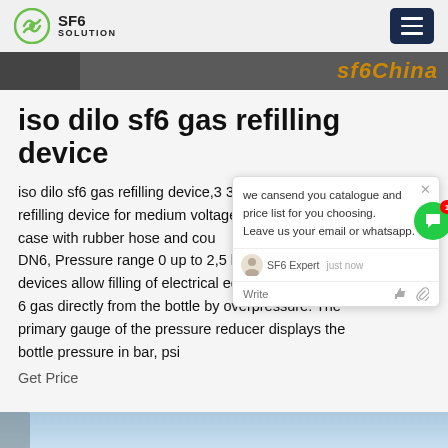SF6 SOLUTION
[Figure (screenshot): Dark banner strip with 'sf6China' text in orange italic]
iso dilo sf6 gas refilling device
iso dilo sf6 gas refilling device,3 393 a refilling device for medium voltage. case with rubber hose and couplings DN6, Pressure range 0 up to 2,5 bar devices allow filling of electrical equipment with SF 6 gas directly from the bottle by overpressure. The primary gauge of the pressure reducer displays the bottle pressure in bar, psi
Get Price
[Figure (screenshot): Chat popup with message: we cansend you catalogue and price list for you choosing. Leave us your email or whatsapp. SF6 Expert just now. Write.]
[Figure (photo): Light blue sky photo strip at bottom of page]